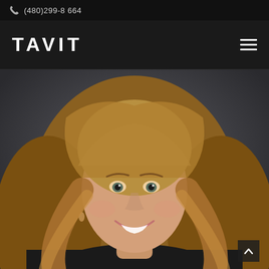(480)299-8664
TAVIT
[Figure (photo): Professional headshot of a woman with long blonde hair, smiling, wearing a black top, against a dark gray background]